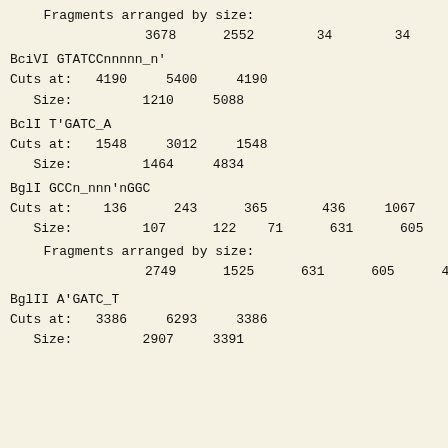Fragments arranged by size:
3678      2552        34        34
BciVI GTATCCnnnnn_n'
Cuts at:   4190     5400     4190
   Size:         1210     5088
BclI T'GATC_A
Cuts at:   1548     3012     1548
   Size:         1464     4834
BglI GCCn_nnn'nGGC
Cuts at:    136      243      365       436     1067     1…
   Size:         107      122    71      631      605
Fragments arranged by size:
2749      1525      631      605      488
BglII A'GATC_T
Cuts at:   3386     6293     3386
   Size:         2907     3391